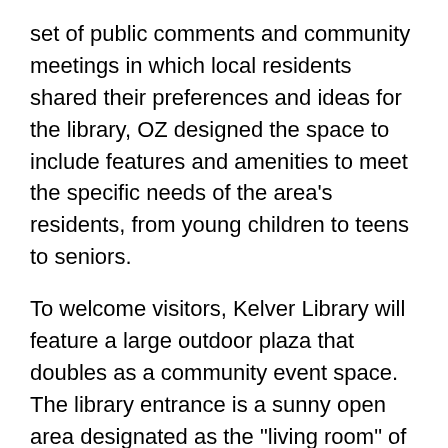set of public comments and community meetings in which local residents shared their preferences and ideas for the library, OZ designed the space to include features and amenities to meet the specific needs of the area's residents, from young children to teens to seniors.
To welcome visitors, Kelver Library will feature a large outdoor plaza that doubles as a community event space. The library entrance is a sunny open area designated as the "living room" of the building, complete with coffee vending, soft seating for groups or individuals, and an indoor/outdoor fireplace. Beyond the living room are several specialized areas, including a separate room for teens to study, collaborate and socialize outside of school and which includes thoughtful details such as backpack storage and device charging stations.
The children's area is designed to stoke exploration and creativity, with elements that mimic the natural outdoor